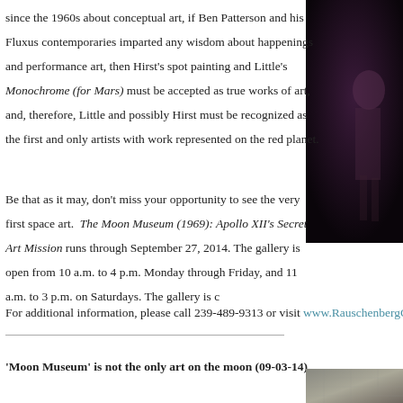since the 1960s about conceptual art, if Ben Patterson and his Fluxus contemporaries imparted any wisdom about happenings and performance art, then Hirst's spot painting and Little's Monochrome (for Mars) must be accepted as true works of art, and, therefore, Little and possibly Hirst must be recognized as the first and only artists with work represented on the red planet.
[Figure (photo): Dark photo of a person in dim lighting, right column]
Be that as it may, don't miss your opportunity to see the very first space art.  The Moon Museum (1969): Apollo XII's Secret Art Mission runs through September 27, 2014. The gallery is open from 10 a.m. to 4 p.m. Monday through Friday, and 11 a.m. to 3 p.m. on Saturdays. The gallery is c
For additional information, please call 239-489-9313 or visit www.RauschenbergGallery.com
'Moon Museum' is not the only art on the moon (09-03-14)
[Figure (photo): Textured surface photo at bottom right]